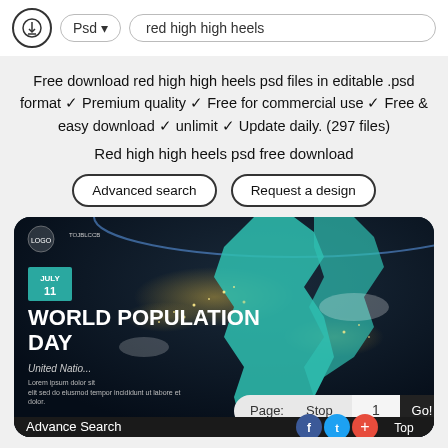Psd ▾   red high high heels
Free download red high high heels psd files in editable .psd format ✓ Premium quality ✓ Free for commercial use ✓ Free & easy download ✓ unlimit ✓ Update daily. (297 files)
Red high high heels psd free download
[Figure (screenshot): World Population Day PSD design preview card with earth satellite image background, teal map overlay, date box showing July 11, large bold title text, pagination controls, social media buttons, and advance search bar at bottom]